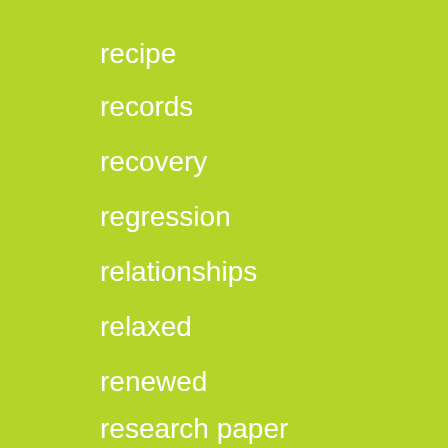recipe
records
recovery
regression
relationships
relaxed
renewed
research paper